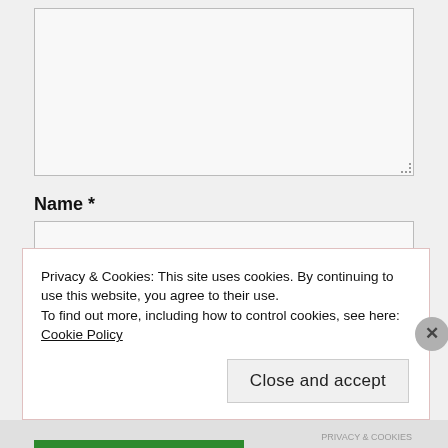[Figure (screenshot): A textarea input box (large comment/message field) with a resize handle in the bottom-right corner. Background is light gray with a border.]
Name *
[Figure (screenshot): A single-line text input box for the Name field.]
Email *
Privacy & Cookies: This site uses cookies. By continuing to use this website, you agree to their use.
To find out more, including how to control cookies, see here: Cookie Policy
Close and accept